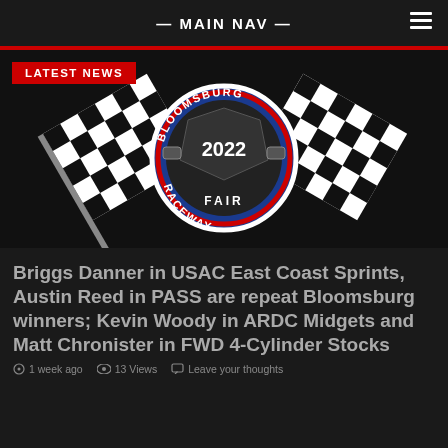— MAIN NAV —
[Figure (logo): Bloomsburg Fair Raceway 2022 logo with checkered flags and animals]
Briggs Danner in USAC East Coast Sprints, Austin Reed in PASS are repeat Bloomsburg winners; Kevin Woody in ARDC Midgets and Matt Chronister in FWD 4-Cylinder Stocks
1 week ago   13 Views   Leave your thoughts